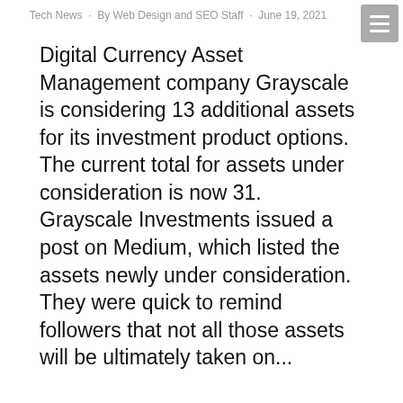Tech News · By Web Design and SEO Staff · June 19, 2021
Digital Currency Asset Management company Grayscale is considering 13 additional assets for its investment product options. The current total for assets under consideration is now 31. Grayscale Investments issued a post on Medium, which listed the assets newly under consideration. They were quick to remind followers that not all those assets will be ultimately taken on...
[Figure (infographic): Red rounded rectangle advertisement banner with SEACABO logo on the left and white bold text reading 'Ready to grow your business? Let's get started!']
[Figure (photo): Dark purple background image showing a golden bitcoin coin held by a metallic silver humanoid figure, partially visible at the bottom of the page. A red circular chat button is visible in the lower right.]